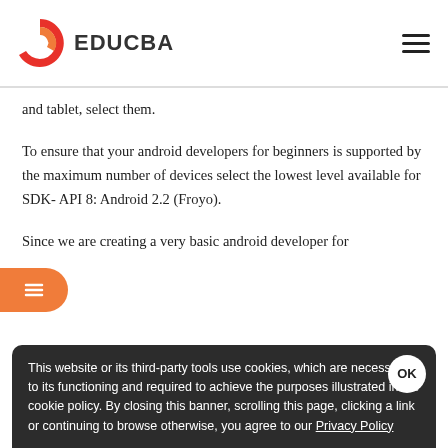EDUCBA
and tablet, select them.
To ensure that your android developers for beginners is supported by the maximum number of devices select the lowest level available for SDK- API 8: Android 2.2 (Froyo).
Since we are creating a very basic android developer for
This website or its third-party tools use cookies, which are necessary to its functioning and required to achieve the purposes illustrated in the cookie policy. By closing this banner, scrolling this page, clicking a link or continuing to browse otherwise, you agree to our Privacy Policy